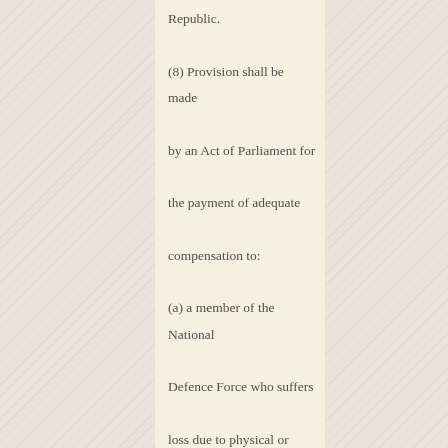Republic. (8) Provision shall be made by an Act of Parliament for the payment of adequate compensation to: (a) a member of the National Defence Force who suffers loss due to physical or mental disability sustained in the execution of his or her duties as such a member; and (b) the immediate dependants of a member of the National Defence Force who suffer loss due to the death or physical or mental disability of such a member resulting